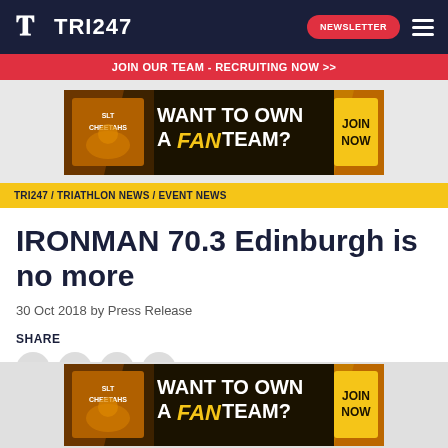TRI247
JOIN OUR TEAM - RECRUITING NOW >>
[Figure (illustration): SLT Cheetahs fan team advertisement banner: WANT TO OWN A FAN TEAM? JOIN NOW]
TRI247 / TRIATHLON NEWS / EVENT NEWS
IRONMAN 70.3 Edinburgh is no more
30 Oct 2018 by Press Release
SHARE
[Figure (illustration): SLT Cheetahs fan team advertisement banner (bottom): WANT TO OWN A FAN TEAM? JOIN NOW]